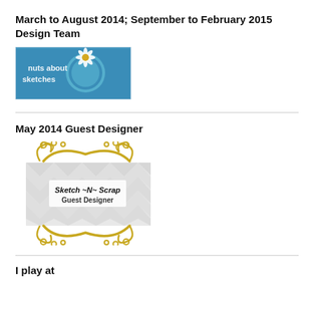March to August 2014; September to February 2015 Design Team
[Figure (logo): Nuts about sketches logo badge - blue background with circular emblem and daisy flower, text 'nuts about sketches']
May 2014 Guest Designer
[Figure (logo): Sketch ~N~ Scrap Guest Designer badge - chevron pattern background with gold decorative frame, text 'Sketch ~N~ Scrap Guest Designer']
I play at